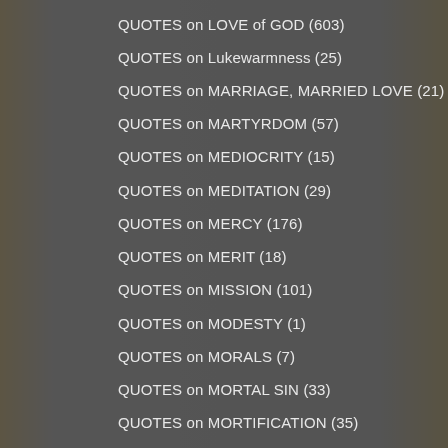QUOTES on LOVE of GOD (603)
QUOTES on Lukewarmness (25)
QUOTES on MARRIAGE, MARRIED LOVE (21)
QUOTES on MARTYRDOM (57)
QUOTES on MEDIOCRITY (15)
QUOTES on MEDITATION (29)
QUOTES on MERCY (176)
QUOTES on MERIT (18)
QUOTES on MISSION (101)
QUOTES on MODESTY (1)
QUOTES on MORALS (7)
QUOTES on MORTAL SIN (33)
QUOTES on MORTIFICATION (35)